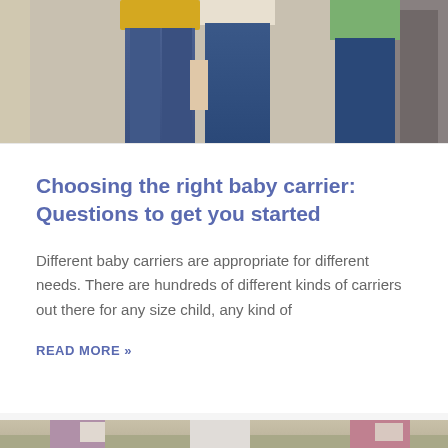[Figure (photo): Photo of adults from waist down wearing jeans, one in a yellow top, another in a green patterned shirt, appearing to be standing outside.]
Choosing the right baby carrier: Questions to get you started
Different baby carriers are appropriate for different needs. There are hundreds of different kinds of carriers out there for any size child, any kind of
READ MORE »
[Figure (photo): Photo of adults wearing baby carriers outdoors in a field setting. Multiple people shown carrying babies/toddlers in carriers.]